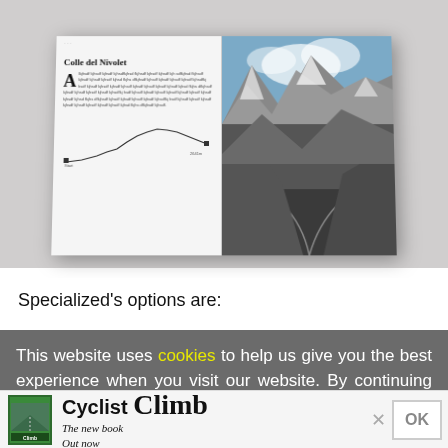[Figure (photo): An open magazine/book spread showing a left text page titled 'Colle del Nivolet' with a drop cap A, body text, and a route map silhouette, and a right page with a dramatic mountain road photograph.]
Specialized's options are:
This website uses cookies to help us give you the best experience when you visit our website. By continuing to use this website, you consent to our use of these cookies.
[Figure (infographic): Advertisement bar at bottom showing Cyclist Climb book cover image, 'Cyclist Climb' text in bold, and 'The new book Out now' tagline, with an X close button and OK button.]